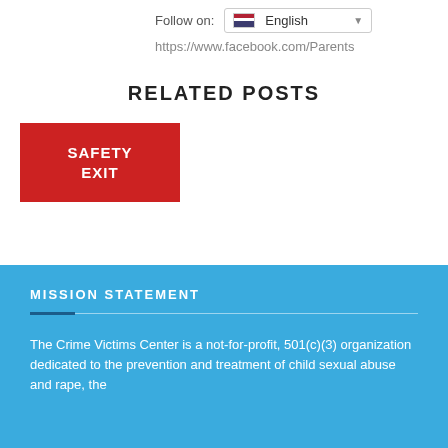Follow on:
English
https://www.facebook.com/Parents
RELATED POSTS
[Figure (other): Red SAFETY EXIT button]
MISSION STATEMENT
The Crime Victims Center is a not-for-profit, 501(c)(3) organization dedicated to the prevention and treatment of child sexual abuse and rape, the